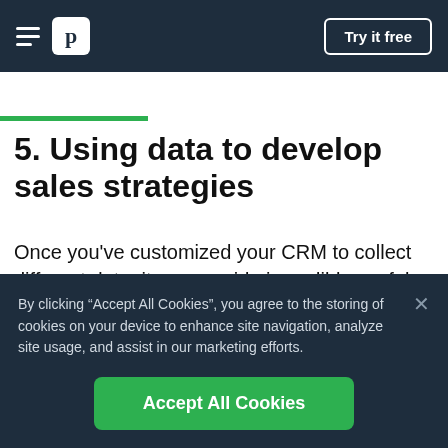p | Try it free
Blog | Sales
5. Using data to develop sales strategies
Once you've customized your CRM to collect different data, it can provide incredibly useful insights to...
By clicking “Accept All Cookies”, you agree to the storing of cookies on your device to enhance site navigation, analyze site usage, and assist in our marketing efforts.
Accept All Cookies